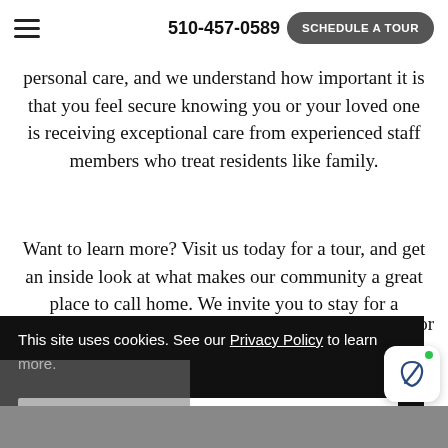510-457-0589   SCHEDULE A TOUR
personal care, and we understand how important it is that you feel secure knowing you or your loved one is receiving exceptional care from experienced staff members who treat residents like family.
Want to learn more? Visit us today for a tour, and get an inside look at what makes our community a great place to call home. We invite you to stay for a
This site uses cookies. See our Privacy Policy to learn more.
Okay, Got it